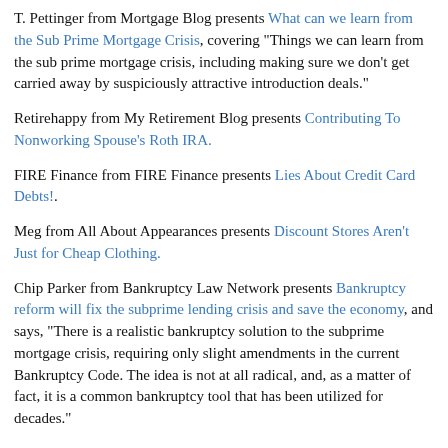T. Pettinger from Mortgage Blog presents What can we learn from the Sub Prime Mortgage Crisis, covering "Things we can learn from the sub prime mortgage crisis, including making sure we don't get carried away by suspiciously attractive introduction deals."
Retirehappy from My Retirement Blog presents Contributing To Nonworking Spouse's Roth IRA.
FIRE Finance from FIRE Finance presents Lies About Credit Card Debts!.
Meg from All About Appearances presents Discount Stores Aren't Just for Cheap Clothing.
Chip Parker from Bankruptcy Law Network presents Bankruptcy reform will fix the subprime lending crisis and save the economy, and says, "There is a realistic bankruptcy solution to the subprime mortgage crisis, requiring only slight amendments in the current Bankruptcy Code. The idea is not at all radical, and, as a matter of fact, it is a common bankruptcy tool that has been utilized for decades."